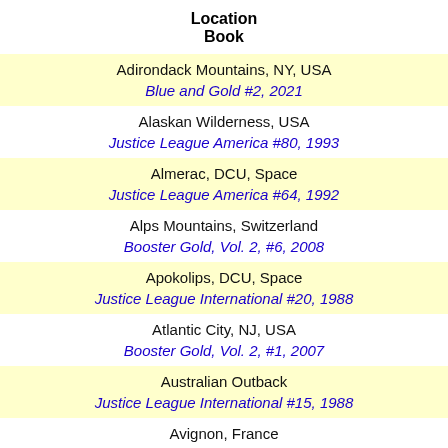Location
Book
Adirondack Mountains, NY, USA
Blue and Gold #2, 2021
Alaskan Wilderness, USA
Justice League America #80, 1993
Almerac, DCU, Space
Justice League America #64, 1992
Alps Mountains, Switzerland
Booster Gold, Vol. 2, #6, 2008
Apokolips, DCU, Space
Justice League International #20, 1988
Atlantic City, NJ, USA
Booster Gold, Vol. 2, #1, 2007
Australian Outback
Justice League International #15, 1988
Avignon, France
Booster Gold, Vol. 2, #13, 2008